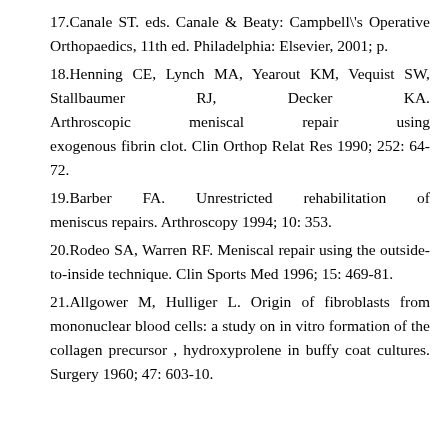17.Canale ST. eds. Canale & Beaty: Campbell\'s Operative Orthopaedics, 11th ed. Philadelphia: Elsevier, 2001; p.
18.Henning CE, Lynch MA, Yearout KM, Vequist SW, Stallbaumer RJ, Decker KA. Arthroscopic meniscal repair using exogenous fibrin clot. Clin Orthop Relat Res 1990; 252: 64-72.
19.Barber FA. Unrestricted rehabilitation of meniscus repairs. Arthroscopy 1994; 10: 353.
20.Rodeo SA, Warren RF. Meniscal repair using the outside-to-inside technique. Clin Sports Med 1996; 15: 469-81.
21.Allgower M, Hulliger L. Origin of fibroblasts from mononuclear blood cells: a study on in vitro formation of the collagen precursor , hydroxyprolene in buffy coat cultures. Surgery 1960; 47: 603-10.